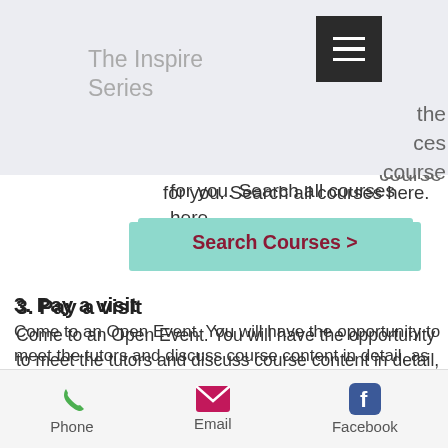The Inspire Series
for you. Search all courses here.
[Figure (other): Search Courses button (teal/mint coloured CTA button with dark red text and chevron)]
3. Pay a visit
Come to an Open Event. You will have the opportunity to meet the tutors and discuss course content in detail, as well as meeting current students and seeing the facilities. At the University of Bedfordshire, we host Open Days throughout the year.
[Figure (other): Find an Open Day button (teal/mint coloured CTA button with dark red text and chevron)]
Phone  Email  Facebook